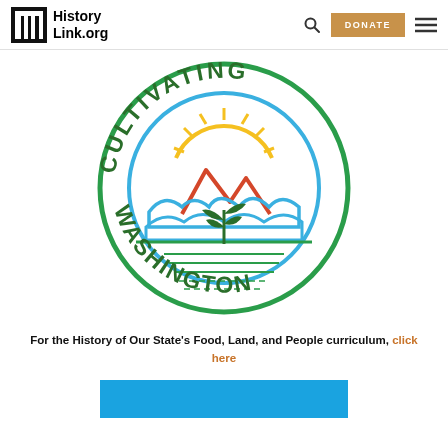HistoryLink.org
[Figure (logo): Cultivating Washington logo — circular badge with text 'CULTIVATING' arcing across the top and 'WASHINGTON' arcing along the bottom in green, a blue circle border, a yellow sun with rays, red mountain peaks, blue rolling hills/clouds, a green plant sprout in center, and horizontal field rows at the bottom.]
For the History of Our State's Food, Land, and People curriculum, click here
[Figure (photo): Blue bar/image partially visible at bottom of page]